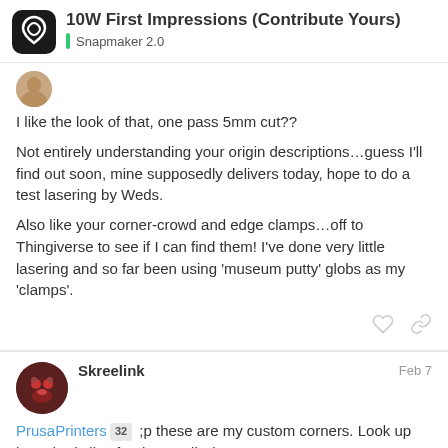10W First Impressions (Contribute Yours) | Snapmaker 2.0
I like the look of that, one pass 5mm cut??
Not entirely understanding your origin descriptions…guess I'll find out soon, mine supposedly delivers today, hope to do a test lasering by Weds.
Also like your corner-crowd and edge clamps…off to Thingiverse to see if I can find them! I've done very little lasering and so far been using 'museum putty' globs as my 'clamps'.
Skreelink  Feb 7
PrusaPrinters 32 ;p these are my custom corners. Look up laser bed clips for the small 'clamps'.
2 / 96